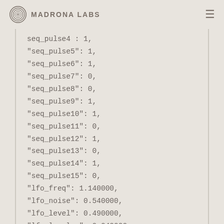Madrona Labs
seq_pulse4 : 1,
"seq_pulse5": 1,
"seq_pulse6": 1,
"seq_pulse7": 0,
"seq_pulse8": 0,
"seq_pulse9": 1,
"seq_pulse10": 1,
"seq_pulse11": 0,
"seq_pulse12": 1,
"seq_pulse13": 0,
"seq_pulse14": 1,
"seq_pulse15": 0,
"lfo_freq": 1.140000,
"lfo_noise": 0.540000,
"lfo_level": 0.490000,
"lfo_level_p":-0.040000,
"lfo_freq_p": 0,